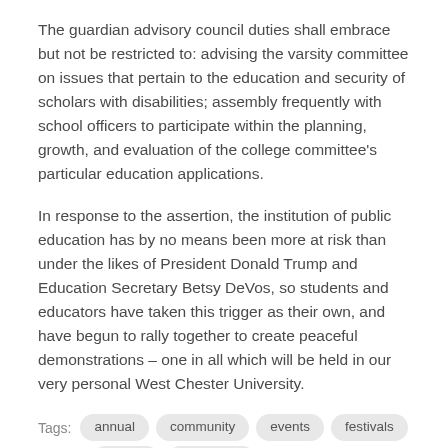The guardian advisory council duties shall embrace but not be restricted to: advising the varsity committee on issues that pertain to the education and security of scholars with disabilities; assembly frequently with school officers to participate within the planning, growth, and evaluation of the college committee's particular education applications.
In response to the assertion, the institution of public education has by no means been more at risk than under the likes of President Donald Trump and Education Secretary Betsy DeVos, so students and educators have taken this trigger as their own, and have begun to rally together to create peaceful demonstrations – one in all which will be held in our very personal West Chester University.
Tags: annual community events festivals leisure valparaiso